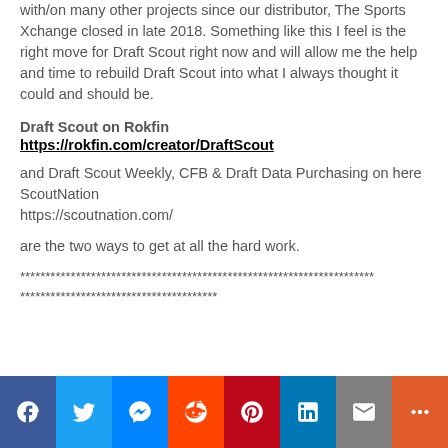with/on many other projects since our distributor, The Sports Xchange closed in late 2018.  Something like this I feel is the right move for Draft Scout right now and will allow me the help and time to rebuild Draft Scout into what I always thought it could and should be.
Draft Scout on Rokfin
https://rokfin.com/creator/DraftScout
and Draft Scout Weekly, CFB & Draft Data Purchasing on here ScoutNation
https://scoutnation.com/
are the two ways to get at all the hard work.
**********************************************************************
***************************************
[Figure (infographic): Social media sharing buttons: Facebook, Twitter, Messenger, Reddit, Pinterest, LinkedIn, Email, More]